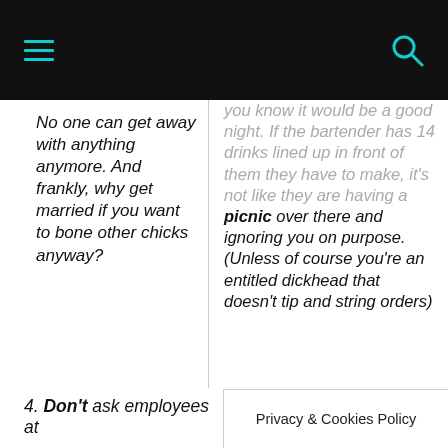[navigation header with hamburger menu and search icon]
No one can get away with anything anymore. And frankly, why get married if you want to bone other chicks anyway?
you know it would be a good night. If the bartender has 14 drinks lined up in front of them they have to make, it's not like they are having a picnic over there and ignoring you on purpose. (Unless of course you're an entitled dickhead that doesn't tip and string orders)
4. Don't ask employees at
Privacy & Cookies Policy